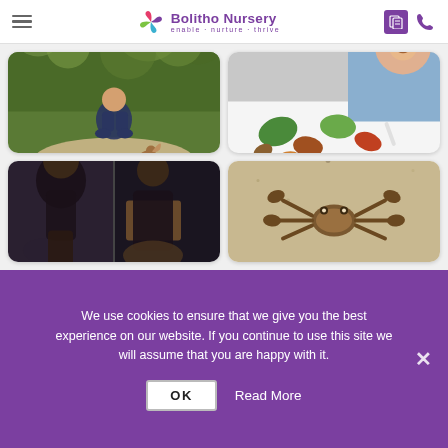Bolitho Nursery — enable · nurture · thrive
[Figure (photo): Young child sitting on a rock in a lush green forest, looking down at a small squirrel]
[Figure (photo): Smiling young child at a table covered with autumn leaves of various colors, doing a craft activity]
[Figure (photo): Two collaged photos of children doing hands-on activities; dark-toned imagery]
[Figure (photo): Close-up photo of a crab on sandy ground]
We use cookies to ensure that we give you the best experience on our website. If you continue to use this site we will assume that you are happy with it.
OK   Read More